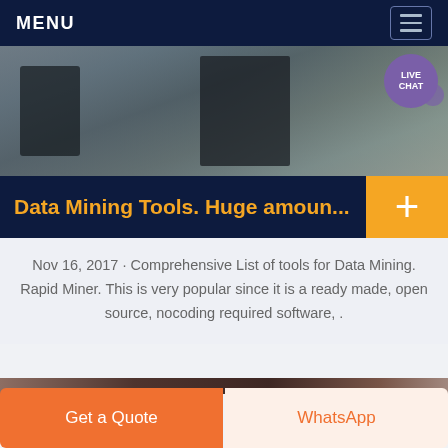MENU
[Figure (photo): Industrial mining equipment image with gravel/ore in background, with a Live Chat bubble in the top-right corner]
Data Mining Tools. Huge amoun...
Nov 16, 2017 · Comprehensive List of tools for Data Mining. Rapid Miner. This is very popular since it is a ready made, open source, nocoding required software, .
[Figure (photo): Industrial interior/facility image, partially visible at bottom of page]
Get a Quote
WhatsApp